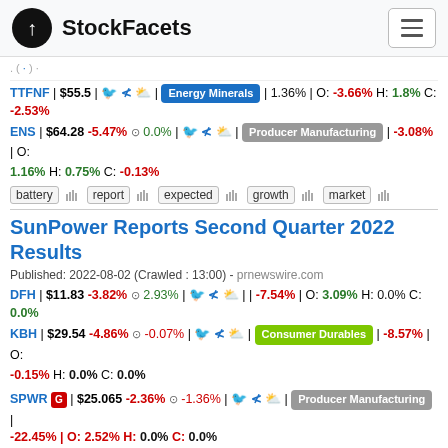StockFacets
TTFNF | $55.5 | Energy Minerals | 1.36% | O: -3.66% H: 1.8% C: -2.53%
ENS | $64.28 -5.47% 0.0% | Producer Manufacturing | -3.08% | O: 1.16% H: 0.75% C: -0.13%
battery report expected growth market
SunPower Reports Second Quarter 2022 Results
Published: 2022-08-02 (Crawled : 13:00) - prnewswire.com
DFH | $11.83 -3.82% 2.93% | | -7.54% | O: 3.09% H: 0.0% C: 0.0%
KBH | $29.54 -4.86% -0.07% | Consumer Durables | -8.57% | O: -0.15% H: 0.0% C: 0.0%
SPWR G | $25.065 -2.36% -1.36% | Producer Manufacturing | -22.45% | O: 2.52% H: 0.0% C: 0.0%